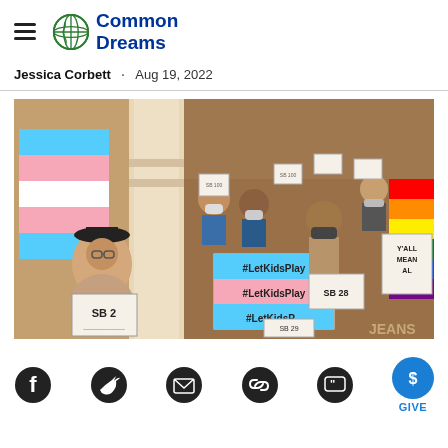Common Dreams
Jessica Corbett · Aug 19, 2022
[Figure (photo): Protesters inside what appears to be a government building, holding signs reading '#LetKidsPlay' and 'SB 2', with a transgender pride flag visible. People are wearing masks. One person in the foreground wears a black hat.]
Social sharing icons: Facebook, Twitter, Email, Link, Quote, Give